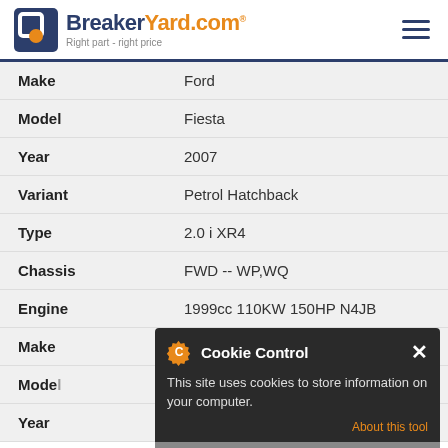BreakerYard.com - Right part - right price
| Field | Value |
| --- | --- |
| Make | Ford |
| Model | Fiesta |
| Year | 2007 |
| Variant | Petrol Hatchback |
| Type | 2.0 i XR4 |
| Chassis | FWD -- WP,WQ |
| Engine | 1999cc 110KW 150HP N4JB |
| Make | Ford |
| Model | Fiesta |
| Year | 2007 |
[Figure (other): Cookie Control popup overlay with orange gear icon, close button X, message 'This site uses cookies to store information on your computer.', 'About this tool' link in orange, and 'read more' button at bottom]